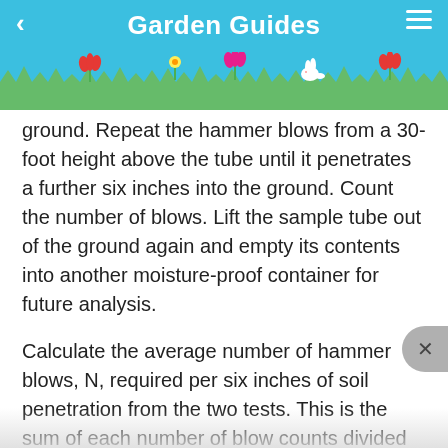Garden Guides
ground. Repeat the hammer blows from a 30-foot height above the tube until it penetrates a further six inches into the ground. Count the number of blows. Lift the sample tube out of the ground again and empty its contents into another moisture-proof container for future analysis.
Calculate the average number of hammer blows, N, required per six inches of soil penetration from the two tests. This is the sum of each number of blow counts divided by two. Each single hammer blow is equivalent to a bearing pressure of 2.1 bar, or 30.45 pounds per square inch, according to empirical engineering calculations. Multiply the N value by either